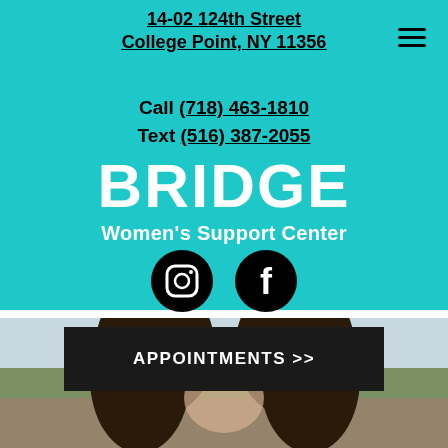14-02 124th Street
College Point, NY 11356
Call (718) 463-1810
Text (516) 387-2055
BRIDGE
Women's Support Center
[Figure (illustration): Instagram and Facebook social media icons (black circles with white logos)]
APPOINTMENTS >>
[Figure (photo): Two women with dark hair seen from behind, outdoors in a field with flowers, facing each other as if whispering]